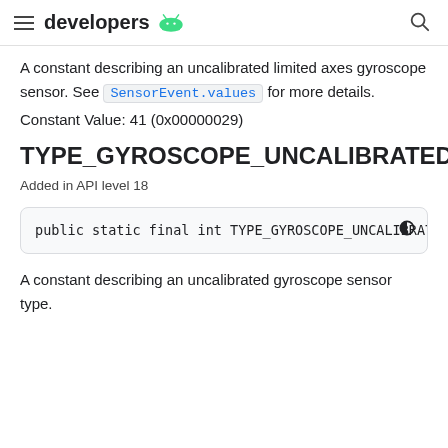developers
A constant describing an uncalibrated limited axes gyroscope sensor. See SensorEvent.values for more details.
Constant Value: 41 (0x00000029)
TYPE_GYROSCOPE_UNCALIBRATED
Added in API level 18
public static final int TYPE_GYROSCOPE_UNCALIBRATED
A constant describing an uncalibrated gyroscope sensor type.